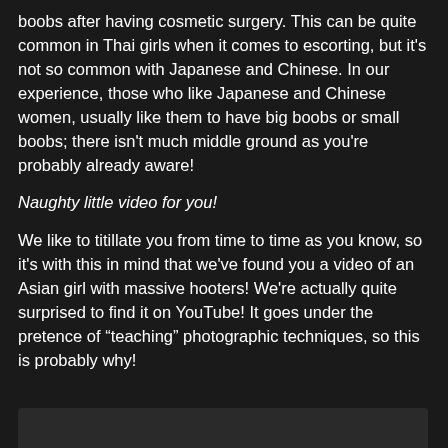boobs after having cosmetic surgery. This can be quite common in Thai girls when it comes to escorting, but it's not so common with Japanese and Chinese. In our experience, those who like Japanese and Chinese women, usually like them to have big boobs or small boobs; there isn't much middle ground as you're probably already aware!
Naughty little video for you!
We like to titillate you from time to time as you know, so it's with this in mind that we've found you a video of an Asian girl with massive hooters! We're actually quite surprised to find it on YouTube! It goes under the pretence of “teaching” photographic techniques, so this is probably why!
[Figure (other): Dark rectangular area at the bottom of the page, appears to be a video embed placeholder]